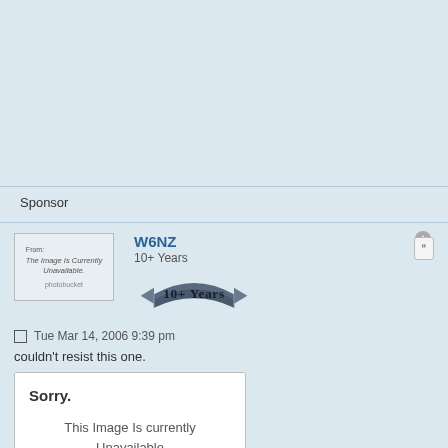Sponsor
W6NZ
10+ Years
Tue Mar 14, 2006 9:39 pm
couldn't resist this one.
[Figure (screenshot): Photobucket image placeholder showing 'Sorry. This Image Is currently Unavailable' with photobucket logo footer]